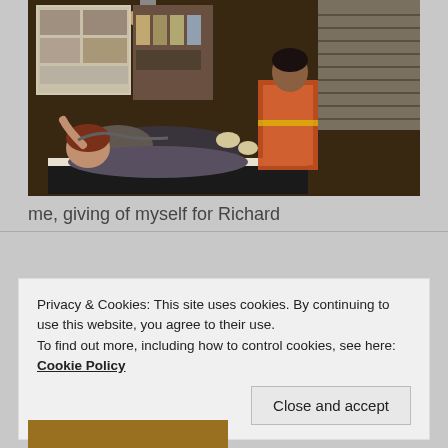[Figure (photo): A person in orange hi-vis workwear attending to a woman lying on a medical table in what appears to be a treatment room. The room has posters on walls and venetian blinds on the window.]
me, giving of myself for Richard
Privacy & Cookies: This site uses cookies. By continuing to use this website, you agree to their use.
To find out more, including how to control cookies, see here: Cookie Policy
[Figure (photo): Partial view of another photo at the bottom of the page, showing a warm golden/amber toned scene.]